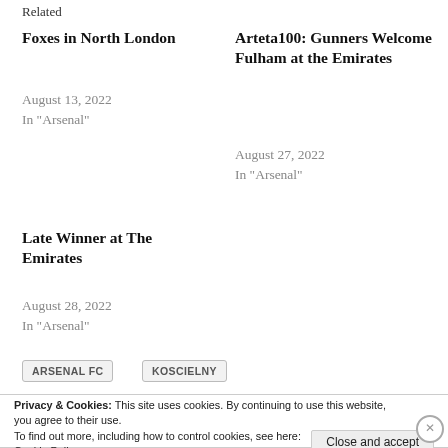Related
Foxes in North London
August 13, 2022
In "Arsenal"
Arteta100: Gunners Welcome Fulham at the Emirates
August 27, 2022
In "Arsenal"
Late Winner at The Emirates
August 28, 2022
In "Arsenal"
ARSENAL FC
KOSCIELNY
Privacy & Cookies: This site uses cookies. By continuing to use this website, you agree to their use.
To find out more, including how to control cookies, see here:
Cookie Policy
Close and accept